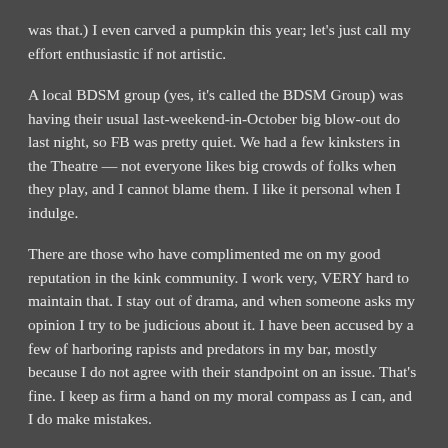was that.) I even carved a pumpkin this year; let's just call my effort enthusiastic if not artistic.
A local BDSM group (yes, it's called the BDSM Group) was having their usual last-weekend-in-October big blow-out do last night, so FB was pretty quiet. We had a few kinksters in the Theatre — not everyone likes big crowds of folks when they play, and I cannot blame them. I like it personal when I indulge.
There are those who have complimented me on my good reputation in the kink community. I work very, VERY hard to maintain that. I stay out of drama, and when someone asks my opinion I try to be judicious about it. I have been accused by a few of harboring rapists and predators in my bar, mostly because I do not agree with their standpoint on an issue. That's fine. I keep as firm a hand on my moral compass as I can, and I do make mistakes.
(One of Frannie's partners had a bad break-up with an ex that